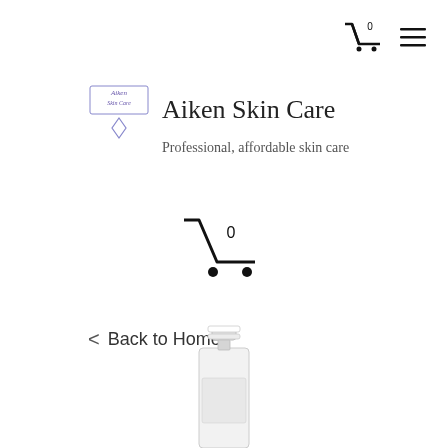[Figure (screenshot): Navigation bar with shopping cart icon showing 0 items and hamburger menu icon in top right]
[Figure (logo): Aiken Skin Care logo - small decorative text logo with diamond shape underneath]
Aiken Skin Care
Professional, affordable skin care
[Figure (other): Shopping cart icon with 0 badge, centered on page]
< Back to Home
[Figure (photo): Partial view of a skincare product pump bottle, white/grey, cropped at bottom of page]